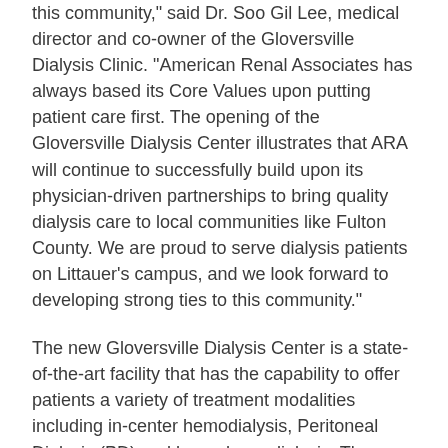this community," said Dr. Soo Gil Lee, medical director and co-owner of the Gloversville Dialysis Clinic. "American Renal Associates has always based its Core Values upon putting patient care first. The opening of the Gloversville Dialysis Center illustrates that ARA will continue to successfully build upon its physician-driven partnerships to bring quality dialysis care to local communities like Fulton County. We are proud to serve dialysis patients on Littauer's campus, and we look forward to developing strong ties to this community."
The new Gloversville Dialysis Center is a state-of-the-art facility that has the capability to offer patients a variety of treatment modalities including in-center hemodialysis, Peritoneal Dialysis (PD) and home hemodialysis. The facility will operate under the direction of Dr. Soo Gil Lee.
The new dialysis center in Fulton County is a 7,000 square foot facility with the latest in technology in a comfortable, modern setting. Adirondack photos taken by local photographers are permanently exhibited in the center. There are 12 patient stations and one isolation unit. In addition, there are four in-patient dialysis rooms available at Littauer. The new center will employ 14 additional staff